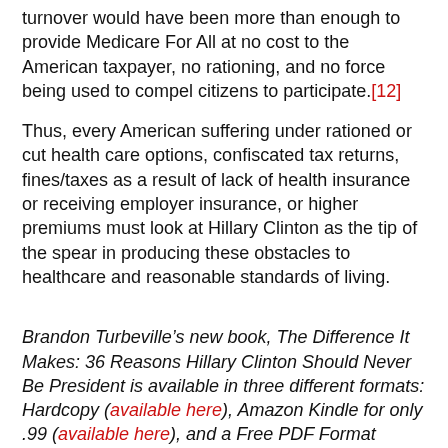turnover would have been more than enough to provide Medicare For All at no cost to the American taxpayer, no rationing, and no force being used to compel citizens to participate.[12]
Thus, every American suffering under rationed or cut health care options, confiscated tax returns, fines/taxes as a result of lack of health insurance or receiving employer insurance, or higher premiums must look at Hillary Clinton as the tip of the spear in producing these obstacles to healthcare and reasonable standards of living.
Brandon Turbeville’s new book, The Difference It Makes: 36 Reasons Hillary Clinton Should Never Be President is available in three different formats: Hardcopy (available here), Amazon Kindle for only .99 (available here), and a Free PDF Format (accessible free from his website,BrandonTurbeville.com).
[1] Turbeville, Brandon. “The Case For The 1% Wall Street Sales Tax.” Activist Post. February 25, 2013. http://www.activistpost.com/2013/02/the-case-for-1-wall